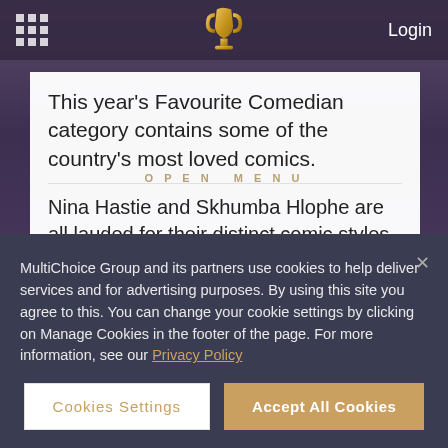Login
This year's Favourite Comedian category contains some of the country's most loved comics.
OPEN MENU
Nina Hastie and Skhumba Hlophe are all lauded for their distinct comic styles, we can all agree that they all bring something that has never mattered so much - a good laugh! Each of them has taken their craft beyond the stand-up comedy stage, making splashes on TV, radio, social media, and beyond. As you vote for your favs to
MultiChoice Group and its partners use cookies to help deliver services and for advertising purposes. By using this site you agree to this. You can change your cookie settings by clicking on Manage Cookies in the footer of the page. For more information, see our Privacy Policy
Cookies Settings
Accept All Cookies